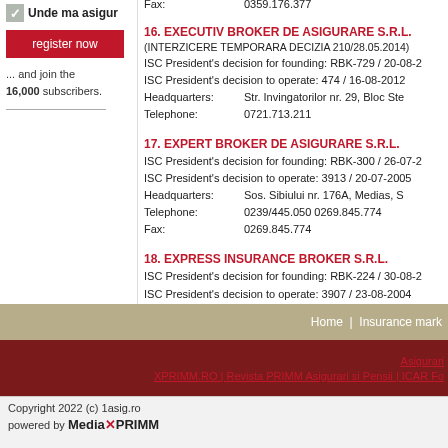[Figure (logo): Unde ma asigur logo with checkmark icon]
register now
... and join the 16,000 subscribers.
Fax: 0359.176.377
16. EXECUTIV BROKER DE ASIGURARE S.R.L. (INTERZICERE TEMPORARA DECIZIA 210/28.05.2014)
ISC President's decision for founding: RBK-729 / 20-08-2
ISC President's decision to operate: 474 / 16-08-2012
Headquarters: Str. Invingatorilor nr. 29, Bloc Ste
Telephone: 0721.713.211
17. EXPERT BROKER DE ASIGURARE S.R.L.
ISC President's decision for founding: RBK-300 / 26-07-2
ISC President's decision to operate: 3913 / 20-07-2005
Headquarters: Sos. Sibiului nr. 176A, Medias, S
Telephone: 0239/445.050 0269.845.774
Fax: 0269.845.774
18. EXPRESS INSURANCE BROKER S.R.L.
ISC President's decision for founding: RBK-224 / 30-08-2
ISC President's decision to operate: 3907 / 23-08-2004
Headquarters: Str. Stefan cel Mare nr. 6, bl. 12,
Telephone: 0268.588.019
Fax: 0268.588.019
Home | Insurance mark
Asigurari XPRIMM.RO | Revista PRIMM Asigurari si Pensii | ICAR Fo
Copyright 2022 (c) 1asig.ro
powered by MediaXPRIMM